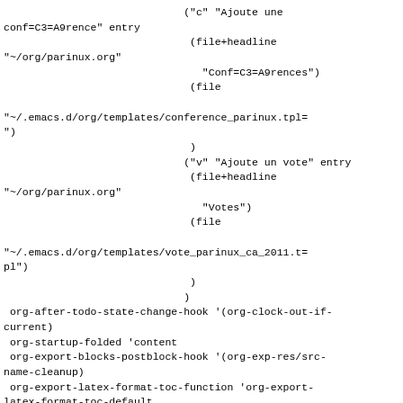("c" "Ajoute une conf=C3=A9rence" entry
                              (file+headline
"~/org/parinux.org"
                                "Conf=C3=A9rences")
                              (file

"~/.emacs.d/org/templates/conference_parinux.tpl=
")
                              )
                             ("v" "Ajoute un vote" entry
                              (file+headline
"~/org/parinux.org"
                                "Votes")
                              (file

"~/.emacs.d/org/templates/vote_parinux_ca_2011.t=
pl")
                              )
                             )
 org-after-todo-state-change-hook '(org-clock-out-if-current)
 org-startup-folded 'content
 org-export-blocks-postblock-hook '(org-exp-res/src-name-cleanup)
 org-export-latex-format-toc-function 'org-export-latex-format-toc-default
 org-tab-first-hook '(org-hide-block-toggle-maybe
                      org-src-native-tab-command-maybe
                      org-babel-hide-result-toggle-